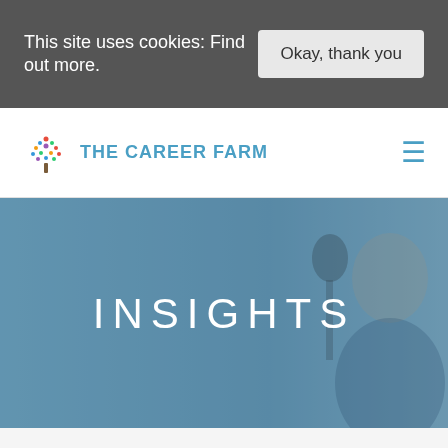This site uses cookies: Find out more. | Okay, thank you
[Figure (logo): The Career Farm logo with colorful tree icon and teal text]
[Figure (photo): Hero banner with INSIGHTS text overlaid on a muted blue photo of a woman at a microphone]
104: HOW TO IGNITE YOUR CAREER IN A TECH START-UP WITH